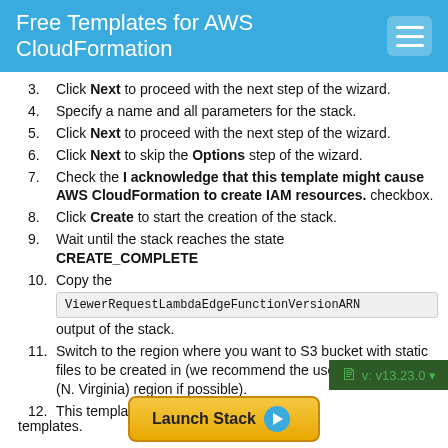Free Templates for AWS CloudFormation
Click Next to proceed with the next step of the wizard.
Specify a name and all parameters for the stack.
Click Next to proceed with the next step of the wizard.
Click Next to skip the Options step of the wizard.
Check the I acknowledge that this template might cause AWS CloudFormation to create IAM resources. checkbox.
Click Create to start the creation of the stack.
Wait until the stack reaches the state CREATE_COMPLETE
Copy the ViewerRequestLambdaEdgeFunctionVersionARN output of the stack.
Switch to the region where you want to S3 bucket with static files to be created in (we recommend the use the us-east-1 (N. Virginia) region if possible).
This template depends on one of our zo templates.